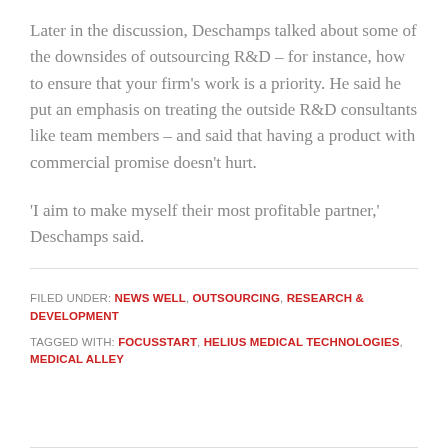Later in the discussion, Deschamps talked about some of the downsides of outsourcing R&D – for instance, how to ensure that your firm's work is a priority. He said he put an emphasis on treating the outside R&D consultants like team members – and said that having a product with commercial promise doesn't hurt.
'I aim to make myself their most profitable partner,' Deschamps said.
FILED UNDER: NEWS WELL, OUTSOURCING, RESEARCH & DEVELOPMENT
TAGGED WITH: FOCUSSTART, HELIUS MEDICAL TECHNOLOGIES, MEDICAL ALLEY